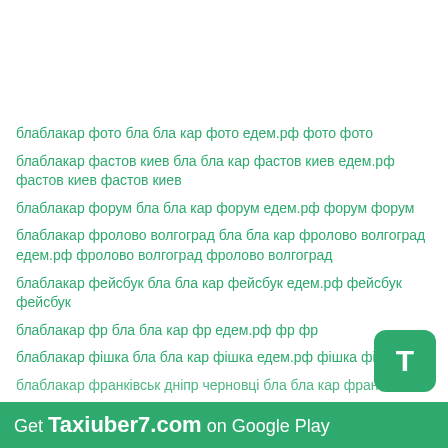блаблакар фото бла бла кар фото едем.рф фото фото
блаблакар фастов киев бла бла кар фастов киев едем.рф фастов киев фастов киев
блаблакар форум бла бла кар форум едем.рф форум форум
блаблакар фролово волгоград бла бла кар фролово волгоград едем.рф фролово волгоград фролово волгоград
блаблакар фейсбук бла бла кар фейсбук едем.рф фейсбук фейсбук
блаблакар фр бла бла кар фр едем.рф фр фр
блаблакар фішка бла бла кар фішка едем.рф фішка фішка
блаблакар франківськ дніпр черновці бла бла кар франківськ
Get Taxiuber7.com on Google Play